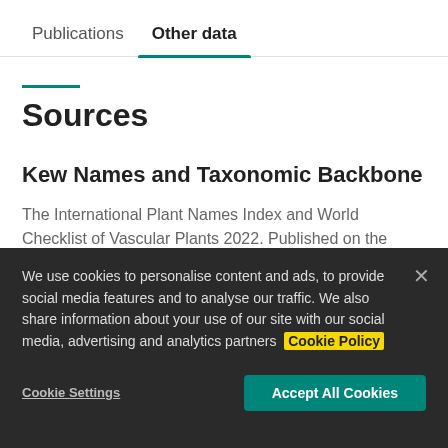Publications | Other data
Sources
Kew Names and Taxonomic Backbone
The International Plant Names Index and World Checklist of Vascular Plants 2022. Published on the Internet at http://www.ipni.org and https://powo.science.kew.org/
We use cookies to personalise content and ads, to provide social media features and to analyse our traffic. We also share information about your use of our site with our social media, advertising and analytics partners Cookie Policy
Cookie Settings | Accept All Cookies